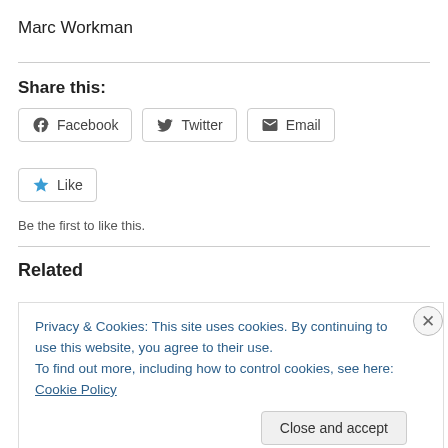Marc Workman
Share this:
Facebook  Twitter  Email
Like
Be the first to like this.
Related
Privacy & Cookies: This site uses cookies. By continuing to use this website, you agree to their use.
To find out more, including how to control cookies, see here: Cookie Policy
Close and accept